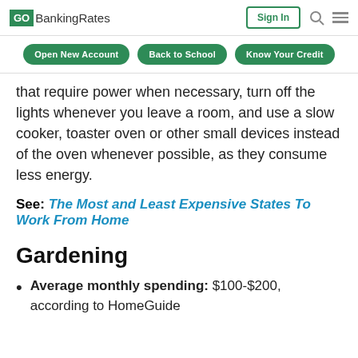GoBankingRates | Sign In
Open New Account | Back to School | Know Your Credit
that require power when necessary, turn off the lights whenever you leave a room, and use a slow cooker, toaster oven or other small devices instead of the oven whenever possible, as they consume less energy.
See: The Most and Least Expensive States To Work From Home
Gardening
Average monthly spending: $100-$200, according to HomeGuide